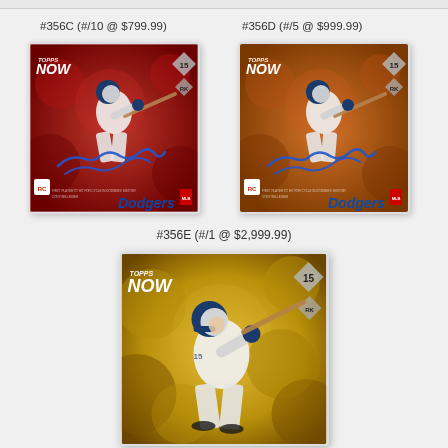#356C (#/10 @ $799.99)
[Figure (photo): Topps Now baseball card #356C with red foil background, featuring Cody Bellinger of the LA Dodgers in a batting pose, with blue signature, rookie badge, and Dodgers logo. Limited to 10 copies.]
#356D (#/5 @ $999.99)
[Figure (photo): Topps Now baseball card #356D with orange/bronze foil background, featuring Cody Bellinger of the LA Dodgers in a batting pose, with blue signature, rookie badge, and Dodgers logo. Limited to 5 copies.]
#356E (#/1 @ $2,999.99)
[Figure (photo): Topps Now baseball card #356E with gold foil background, featuring Cody Bellinger of the LA Dodgers in a batting pose, number 15 diamond badge. 1-of-1 printing.]